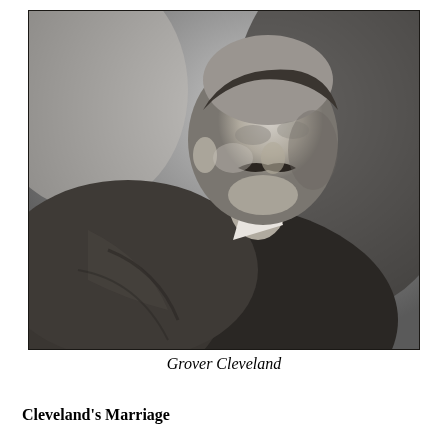[Figure (photo): Black and white portrait photograph of Grover Cleveland, showing him from the shoulders up, facing slightly to the right, wearing a suit and bow tie with a mustache.]
Grover Cleveland
Cleveland's Marriage